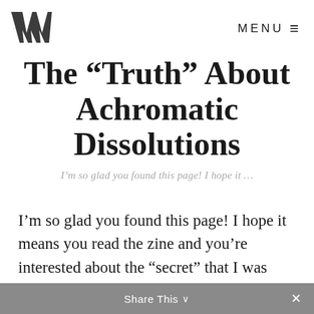MENU ≡
The “Truth” About Achromatic Dissolutions
I’m so glad you found this page! I hope it …
I’m so glad you found this page! I hope it means you read the zine and you’re interested about the “secret” that I was talking about in tiny print on the last page.
Share This ∨